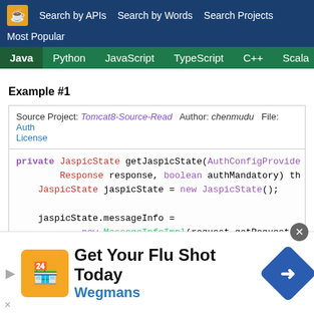Search by APIs   Search by Words   Search Projects   Most Popular
Java   Python   JavaScript   TypeScript   C++   Scala
Example #1
Source Project: Tomcat8-Source-Read   Author: chenmudu   File: Auth   License
private JaspicState getJaspicState(AuthConfigProvide
        Response response, boolean authMandatory) th
    JaspicState jaspicState = new JaspicState();

    jaspicState.messageInfo =
            new MessageInfoImpl(request.getRequest()
[Figure (infographic): Advertisement banner: Get Your Flu Shot Today - Wegmans, with orange logo and blue directional sign icon]